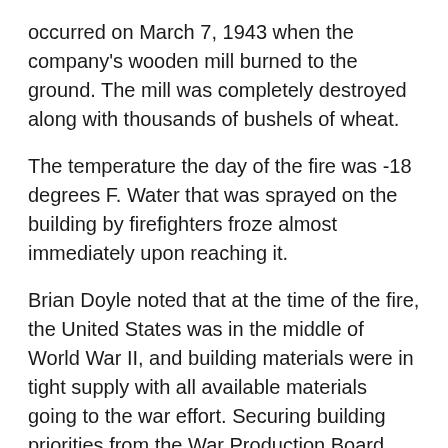occurred on March 7, 1943 when the company's wooden mill burned to the ground. The mill was completely destroyed along with thousands of bushels of wheat.
The temperature the day of the fire was -18 degrees F. Water that was sprayed on the building by firefighters froze almost immediately upon reaching it.
Brian Doyle noted that at the time of the fire, the United States was in the middle of World War II, and building materials were in tight supply with all available materials going to the war effort. Securing building priorities from the War Production Board and Certificates of Necessity from the War Department, assembling materials and recruiting skilled labor for a new mill seemed almost a hopeless task.
“All the able-bodied people were overseas at war, so it was younger boys and old men working on the mill rebuild,” Brian Doyle said. “They poured concrete by hand right there. They